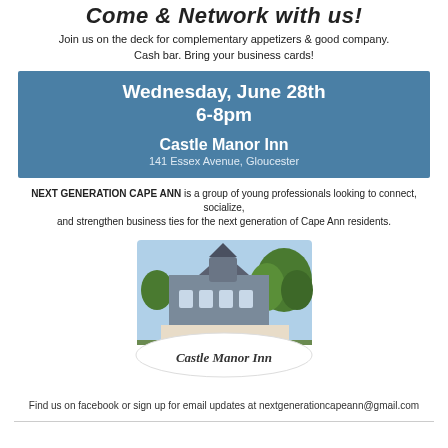Come & Network with us!
Join us on the deck for complementary appetizers & good company. Cash bar. Bring your business cards!
Wednesday, June 28th
6-8pm
Castle Manor Inn
141 Essex Avenue, Gloucester
NEXT GENERATION CAPE ANN is a group of young professionals looking to connect, socialize, and strengthen business ties for the next generation of Cape Ann residents.
[Figure (logo): Castle Manor Inn logo with photo of the inn building and script text 'Castle Manor Inn']
Find us on facebook or sign up for email updates at nextgenerationcapeann@gmail.com